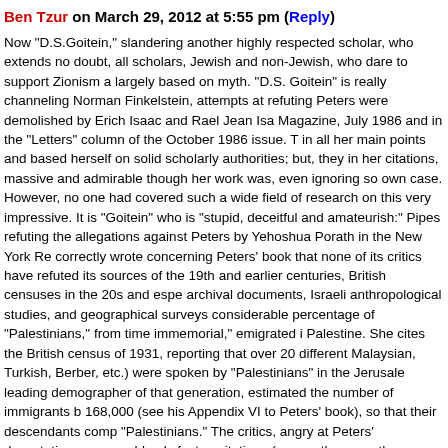Ben Tzur on March 29, 2012 at 5:55 pm (Reply)
Now "D.S.Goitein," slandering another highly respected scholar, who extends no doubt, all scholars, Jewish and non-Jewish, who dare to support Zionism a largely based on myth. "D.S. Goitein" is really channeling Norman Finkelstein, attempts at refuting Peters were demolished by Erich Isaac and Rael Jean Isa Magazine, July 1986 and in the "Letters" column of the October 1986 issue. T in all her main points and based herself on solid scholarly authorities; but, they in her citations, massive and admirable though her work was, even ignoring so own case. However, no one had covered such a wide field of research on this very impressive. It is "Goitein" who is "stupid, deceitful and amateurish:" Pipes refuting the allegations against Peters by Yehoshua Porath in the New York Re correctly wrote concerning Peters' book that none of its critics have refuted its sources of the 19th and earlier centuries, British censuses in the 20s and espe archival documents, Israeli anthropological studies, and geographical surveys considerable percentage of "Palestinians," from time immemorial," emigrated i Palestine. She cites the British census of 1931, reporting that over 20 different Malaysian, Turkish, Berber, etc.) were spoken by "Palestinians" in the Jerusale leading demographer of that generation, estimated the number of immigrants b 168,000 (see his Appendix VI to Peters' book), so that their descendants comp "Palestinians." The critics, angry at Peters' devastating case, could only fasten citations (among the more-than-a-thousand, to authoritative sources). Her wor other researchers, such as Arieh Avneri, The Claim of Dispossession (1982), S Middle East Quarterly (2003), and Efraim Karsh, Palestine Betrayed and other throughout the 19th century, both Ottoman Turks and Egyptians, when they ru